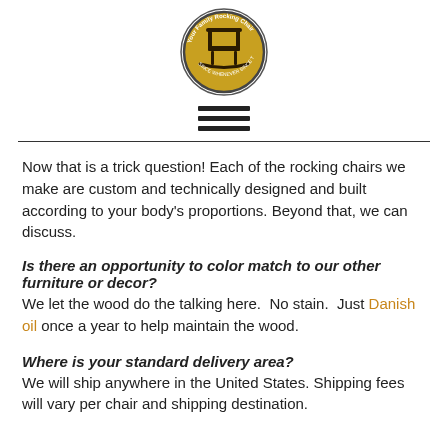[Figure (logo): Your Family Rocking Chair circular logo with a rocking chair silhouette on a gold/yellow background]
[Figure (other): Hamburger menu icon - three horizontal bars]
Now that is a trick question! Each of the rocking chairs we make are custom and technically designed and built according to your body's proportions. Beyond that, we can discuss.
Is there an opportunity to color match to our other furniture or decor?
We let the wood do the talking here.  No stain.  Just Danish oil once a year to help maintain the wood.
Where is your standard delivery area?
We will ship anywhere in the United States. Shipping fees will vary per chair and shipping destination.